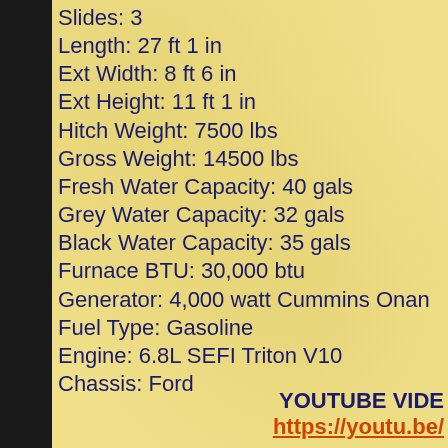Slides: 3
Length: 27 ft 1 in
Ext Width: 8 ft 6 in
Ext Height: 11 ft 1 in
Hitch Weight: 7500 lbs
Gross Weight: 14500 lbs
Fresh Water Capacity: 40 gals
Grey Water Capacity: 32 gals
Black Water Capacity: 35 gals
Furnace BTU: 30,000 btu
Generator: 4,000 watt Cummins Onan
Fuel Type: Gasoline
Engine: 6.8L SEFI Triton V10
Chassis: Ford
YOUTUBE VIDEO https://youtu.be/